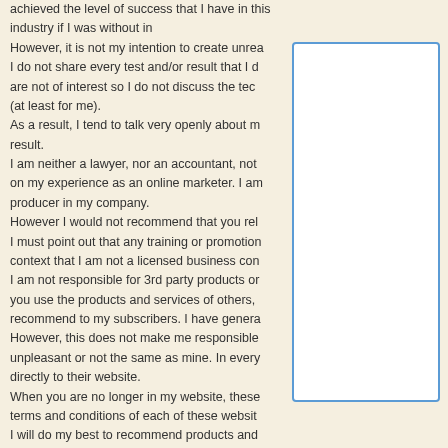achieved the level of success that I have in this industry if I was without in However, it is not my intention to create unrea I do not share every test and/or result that I d are not of interest so I do not discuss the tec (at least for me). As a result, I tend to talk very openly about m result. I am neither a lawyer, nor an accountant, not on my experience as an online marketer. I am producer in my company. However I would not recommend that you rel I must point out that any training or promotion context that I am not a licensed business con I am not responsible for 3rd party products or you use the products and services of others, recommend to my subscribers. I have genera However, this does not make me responsible unpleasant or not the same as mine. In every directly to their website. When you are no longer in my website, these terms and conditions of each of these websit I will do my best to recommend products and
[Figure (other): A white rectangular box with a blue border, positioned on the right side of the page overlapping the text content]